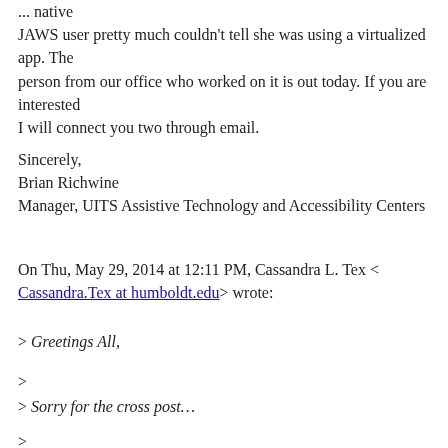... native JAWS user pretty much couldn't tell she was using a virtualized app. The person from our office who worked on it is out today. If you are interested I will connect you two through email.
Sincerely,
Brian Richwine
Manager, UITS Assistive Technology and Accessibility Centers
On Thu, May 29, 2014 at 12:11 PM, Cassandra L. Tex < Cassandra.Tex at humboldt.edu> wrote:
> Greetings All,
>
> Sorry for the cross post…
>